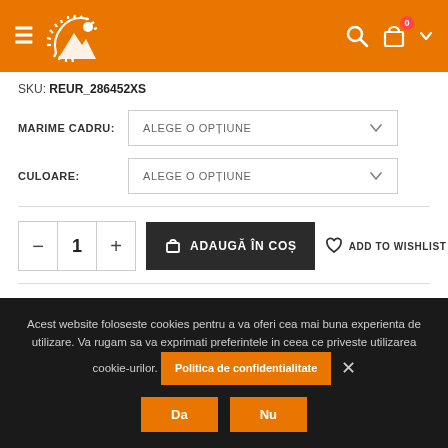Navigation header with hamburger menu, logo, search, cart (0 items), and dropdown
SKU: REUR_286452XS
MARIME CADRU: ALEGE O OPȚIUNE
CULOARE: ALEGE O OPȚIUNE
1  ADAUGĂ ÎN COȘ  ADD TO WISHLIST
Acest website foloseste cookies pentru a va oferi cea mai buna experienta de utilizare. Va rugam sa va exprimati preferintele in ceea ce priveste utilizarea cookie-urilor. Politica de confidentialitate
Da  Nu